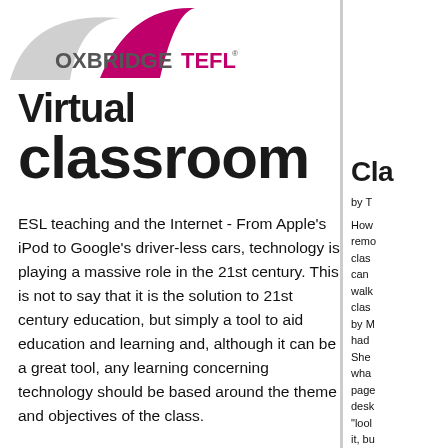[Figure (logo): Oxbridge TEFL logo with grey and magenta arch shapes above the text OXBRIDGETEFL]
Virtual classroom
ESL teaching and the Internet - From Apple's iPod to Google's driver-less cars, technology is playing a massive role in the 21st century. This is not to say that it is the solution to 21st century education, but simply a tool to aid education and learning and, although it can be a great tool, any learning concerning technology should be based around the theme and objectives of the class.
Cla
by T How remo clas can walk clas by M had She wha page desk “lool it, bu disa